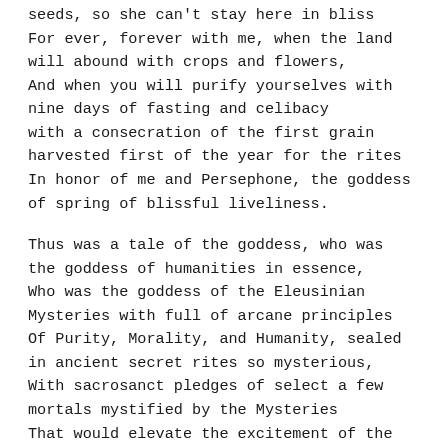seeds, so she can't stay here in bliss For ever, forever with me, when the land will abound with crops and flowers, And when you will purify yourselves with nine days of fasting and celibacy with a consecration of the first grain harvested first of the year for the rites In honor of me and Persephone, the goddess of spring of blissful liveliness.
Thus was a tale of the goddess, who was the goddess of humanities in essence, Who was the goddess of the Eleusinian Mysteries with full of arcane principles Of Purity, Morality, and Humanity, sealed in ancient secret rites so mysterious, With sacrosanct pledges of select a few mortals mystified by the Mysteries That would elevate the excitement of the